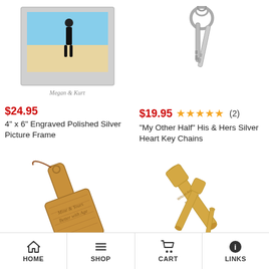[Figure (photo): Silver picture frame with engraved text 'Megan & Kurt' showing a person on a beach]
$24.95
4" x 6" Engraved Polished Silver Picture Frame
[Figure (photo): Silver heart key chains on a keyring]
$19.95 ★★★★★ (2)
"My Other Half" His & Hers Silver Heart Key Chains
[Figure (photo): Wooden paddle/cutting board with engraved text 'Mine & Yours Better with Age']
[Figure (photo): Gold baseball bat pen set with engraving]
HOME  SHOP  CART  LINKS